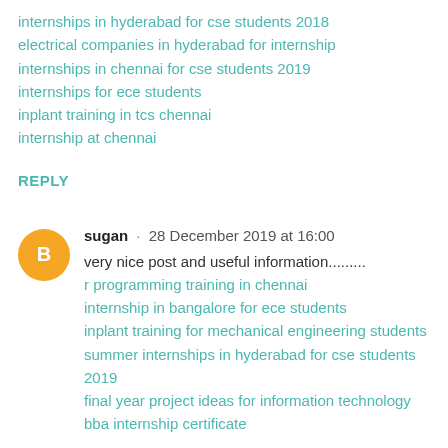internships in hyderabad for cse students 2018
electrical companies in hyderabad for internship
internships in chennai for cse students 2019
internships for ece students
inplant training in tcs chennai
internship at chennai
REPLY
sugan · 28 December 2019 at 16:00
very nice post and useful information......... r programming training in chennai internship in bangalore for ece students inplant training for mechanical engineering students summer internships in hyderabad for cse students 2019 final year project ideas for information technology bba internship certificate